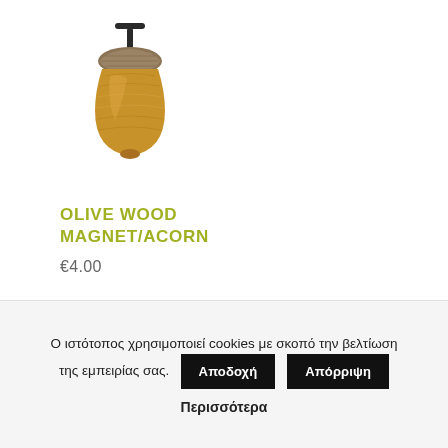[Figure (illustration): Olive wood acorn-shaped magnet with a dark T-bar handle on top, wooden grain texture in warm brown/amber tones]
OLIVE WOOD MAGNET/ACORN
€4.00
Ο ιστότοπος χρησιμοποιεί cookies με σκοπό την βελτίωση της εμπειρίας σας.
Αποδοχή
Απόρριψη
Περισσότερα